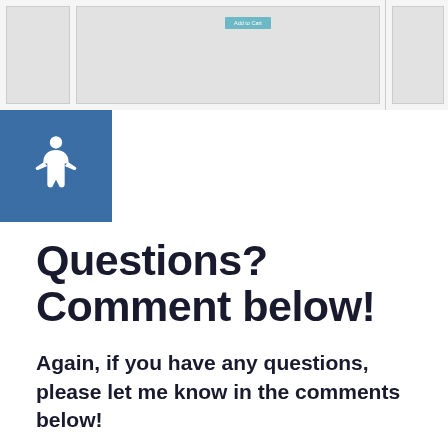[Figure (screenshot): Page header area with product panels and Add to Cart button]
[Figure (logo): Accessibility wheelchair icon in blue square]
Questions? Comment below!
Again, if you have any questions, please let me know in the comments below!
I can't wait to see what beautiful, high-converting blog posts you create as you fall in love with the Divi theme as much